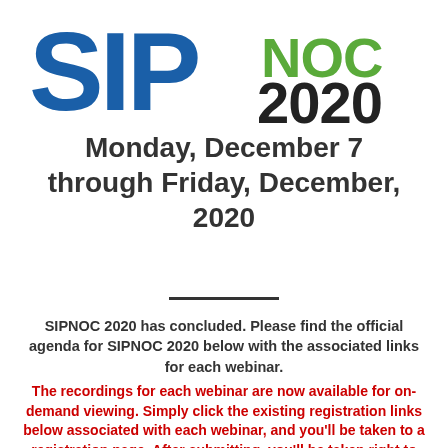[Figure (logo): SIPNOC 2020 logo with SIP in large blue letters and NOC in green letters, with 2020 in large black bold text]
Monday, December 7 through Friday, December, 2020
SIPNOC 2020 has concluded. Please find the official agenda for SIPNOC 2020 below with the associated links for each webinar.
The recordings for each webinar are now available for on-demand viewing. Simply click the existing registration links below associated with each webinar, and you'll be taken to a registration page. After submitting, you'll be taken right to the vide...